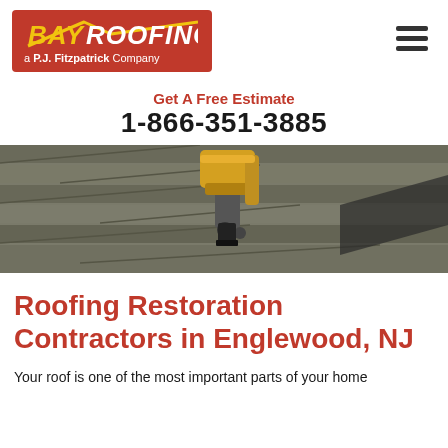[Figure (logo): Bay Roofing logo — red rectangle with yellow roof outline, yellow italic 'BAY' and white italic 'ROOFING' text, subtitle 'a P.J. Fitzpatrick Company']
[Figure (other): Hamburger menu icon — three horizontal dark lines]
Get A Free Estimate
1-866-351-3885
[Figure (photo): Close-up photo of gray roof shingles being nailed with a yellow nail gun during roof installation]
Roofing Restoration Contractors in Englewood, NJ
Your roof is one of the most important parts of your home